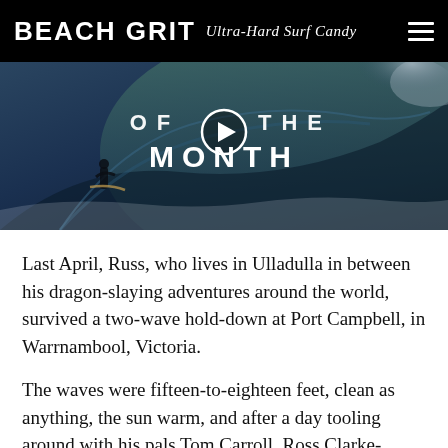BEACH GRIT Ultra-Hard Surf Candy
[Figure (screenshot): Video thumbnail showing a surfer inside a large barrel wave with 'OF THE MONTH' text overlay and a play button icon in the center]
Last April, Russ, who lives in Ulladulla in between his dragon-slaying adventures around the world, survived a two-wave hold-down at Port Campbell, in Warrnambool, Victoria.
The waves were fifteen-to-eighteen feet, clean as anything, the sun warm, and after a day tooling around with his pals Tom Carroll, Ross Clarke-Jones, Ryan Hipwood and Kelly